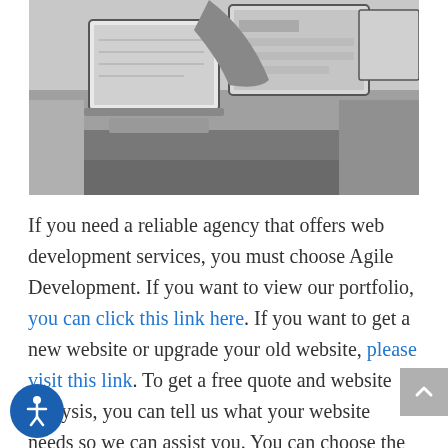[Figure (photo): Black and white photo of people working at a desk with laptops and computers in an office setting]
If you need a reliable agency that offers web development services, you must choose Agile Development. If you want to view our portfolio, you can click this link here. If you want to get a new website or upgrade your old website, please visit this link. To get a free quote and website analysis, you can tell us what your website needs so we can assist you. You can choose the type of service you want to avail